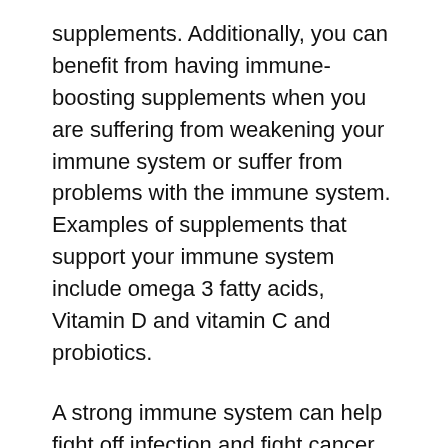supplements. Additionally, you can benefit from having immune-boosting supplements when you are suffering from weakening your immune system or suffer from problems with the immune system. Examples of supplements that support your immune system include omega 3 fatty acids, Vitamin D and vitamin C and probiotics.
A strong immune system can help fight off infection and fight cancer and prevent the development of autoimmune illnesses. Poor immune systems can lead to fatigue, cold sores and other high-risk behavior. Therefore, it is best to be proactive and prevent the issue in the best way is possible. One way to do this is by acquiring nutrition that can improve your immune system